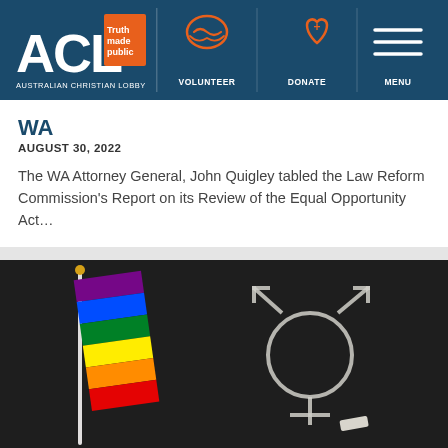[Figure (logo): Australian Christian Lobby (ACL) logo — white ACL letters with orange bracket accent, tagline 'Truth made public', subtitle 'AUSTRALIAN CHRISTIAN LOBBY' on dark blue background]
[Figure (infographic): Navigation header icons: handshake icon labelled VOLUNTEER, heart-with-plus icon labelled DONATE, hamburger menu icon labelled MENU — white icons on dark blue background]
WA
AUGUST 30, 2022
The WA Attorney General, John Quigley tabled the Law Reform Commission's Report on its Review of the Equal Opportunity Act...
[Figure (photo): Photo of a rainbow pride flag on a white stick against a dark chalkboard background, with a chalk drawing of the transgender symbol (circle with combined male and female arrows and cross) on the chalkboard, and a piece of white chalk resting below the symbol]